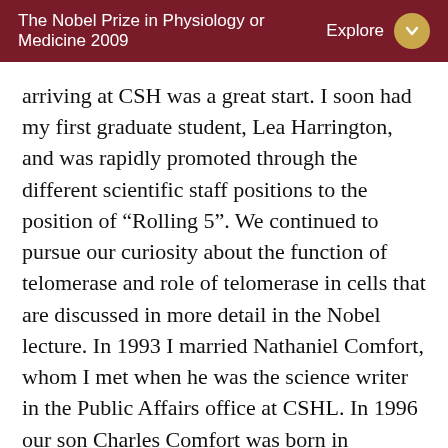The Nobel Prize in Physiology or Medicine 2009  Explore
arriving at CSH was a great start. I soon had my first graduate student, Lea Harrington, and was rapidly promoted through the different scientific staff positions to the position of “Rolling 5”. We continued to pursue our curiosity about the function of telomerase and role of telomerase in cells that are discussed in more detail in the Nobel lecture. In 1993 I married Nathaniel Comfort, whom I met when he was the science writer in the Public Affairs office at CSHL. In 1996 our son Charles Comfort was born in Huntington, New York. Nathan completed his Ph.D. in history of science at the University at Stony Brook in 1997 and was offered a position on the faculty at George Washington University. I was concurrently offered a position in Tom Kelly’s department of Molecular Biology and Genetics at Johns Hopkins University. So when